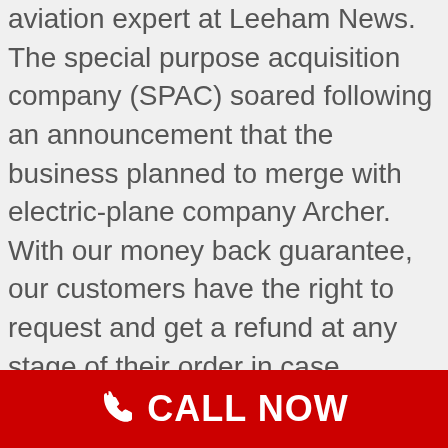aviation expert at Leeham News. The special purpose acquisition company (SPAC) soared following an announcement that the business planned to merge with electric-plane company Archer. With our money back guarantee, our customers have the right to request and get a refund at any stage of their order in case something goes wrong. SOURCE United Airlines. It primarily used R46 subway cars. It's a crowded market to get there, but Archer Aviation thinks a late start will help. Electric aircraft startup Archer will go public through a merger with a blank-check company backed in a deal valued at around $3.8 billion and backed by … Archer's mission is to advance the benefits of sustainable air mobility. Electric aircraft startup Archer will go public through a merger with a blank-check company backed in a deal valued at around $3.8 billion and backed by … Hoyt 2021 Altus Compound Bow.
CALL NOW